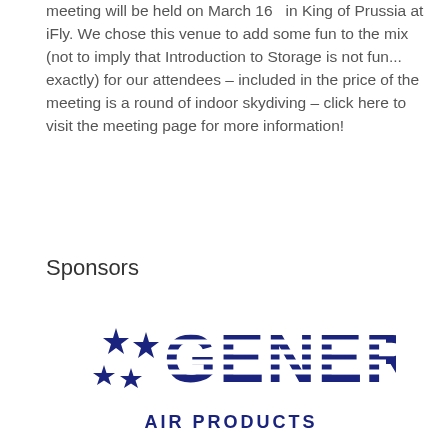meeting will be held on March 16   in King of Prussia at iFly. We chose this venue to add some fun to the mix (not to imply that Introduction to Storage is not fun... exactly) for our attendees – included in the price of the meeting is a round of indoor skydiving – click here to visit the meeting page for more information!
Sponsors
[Figure (logo): General Air Products logo with stars and striped text]